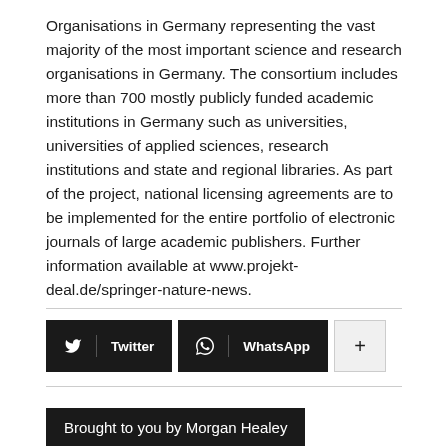Organisations in Germany representing the vast majority of the most important science and research organisations in Germany. The consortium includes more than 700 mostly publicly funded academic institutions in Germany such as universities, universities of applied sciences, research institutions and state and regional libraries. As part of the project, national licensing agreements are to be implemented for the entire portfolio of electronic journals of large academic publishers. Further information available at www.projekt-deal.de/springer-nature-news.
[Figure (infographic): Social sharing buttons: Twitter (black), WhatsApp (black), and a plus/more button (light grey)]
Brought to you by Morgan Healey